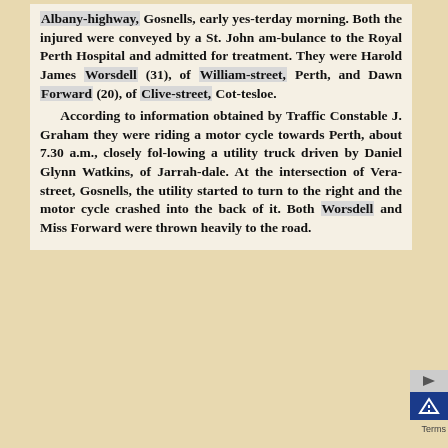Albany-highway, Gosnells, early yesterday morning. Both the injured were conveyed by a St. John ambulance to the Royal Perth Hospital and admitted for treatment. They were Harold James Worsdell (31), of William-street, Perth, and Dawn Forward (20), of Clive-street, Cottesloe.

According to information obtained by Traffic Constable J. Graham they were riding a motor cycle towards Perth, about 7.30 a.m., closely following a utility truck driven by Daniel Glynn Watkins, of Jarrahdale. At the intersection of Vera-street, Gosnells, the utility started to turn to the right and the motor cycle crashed into the back of it. Both Worsdell and Miss Forward were thrown heavily to the road.